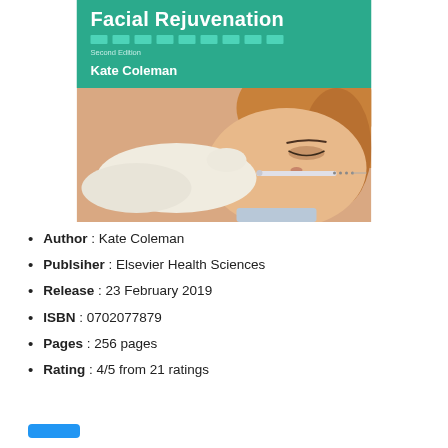[Figure (photo): Book cover of 'Facial Rejuvenation' Second Edition by Kate Coleman, published by Elsevier Health Sciences. The cover has a teal/green top section with the title and author name, and a photo of a woman receiving a facial injection from a gloved hand.]
Author : Kate Coleman
Publsiher : Elsevier Health Sciences
Release : 23 February 2019
ISBN : 0702077879
Pages : 256 pages
Rating : 4/5 from 21 ratings